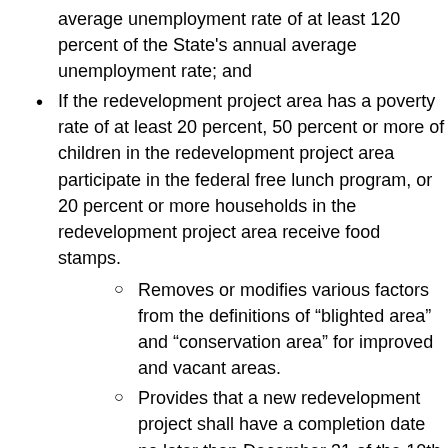average unemployment rate of at least 120 percent of the State's annual average unemployment rate; and
If the redevelopment project area has a poverty rate of at least 20 percent, 50 percent or more of children in the redevelopment project area participate in the federal free lunch program, or 20 percent or more households in the redevelopment project area receive food stamps.
Removes or modifies various factors from the definitions of “blighted area” and “conservation area” for improved and vacant areas.
Provides that a new redevelopment project shall have a completion date no later than December 31 of the 10th year after the ordinance was adopted (rather than the 23rd year) and may be extended to 15 years (rather than 35 years).
Provides that the joint review board and municipality shall approve surplus funds and extensions of redevelopment project area